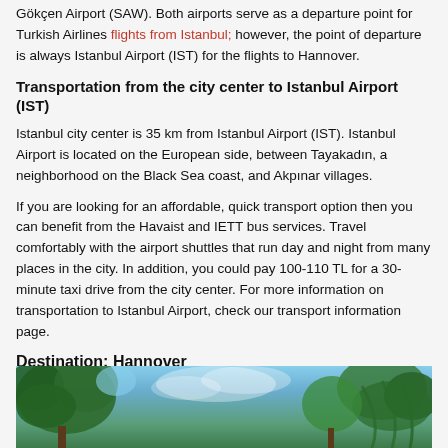Gökçen Airport (SAW). Both airports serve as a departure point for Turkish Airlines flights from Istanbul; however, the point of departure is always Istanbul Airport (IST) for the flights to Hannover.
Transportation from the city center to Istanbul Airport (IST)
Istanbul city center is 35 km from Istanbul Airport (IST). Istanbul Airport is located on the European side, between Tayakadın, a neighborhood on the Black Sea coast, and Akpınar villages.
If you are looking for an affordable, quick transport option then you can benefit from the Havaist and IETT bus services. Travel comfortably with the airport shuttles that run day and night from many places in the city. In addition, you could pay 100-110 TL for a 30-minute taxi drive from the city center. For more information on transportation to Istanbul Airport, check our transport information page.
Destination: Hannover
[Figure (photo): Photo of trees and blue sky, likely representing Hannover destination scenery]